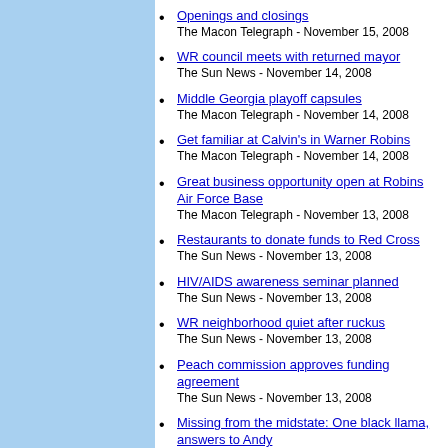Openings and closings
The Macon Telegraph - November 15, 2008
WR council meets with returned mayor
The Sun News - November 14, 2008
Middle Georgia playoff capsules
The Macon Telegraph - November 14, 2008
Get familiar at Calvin's in Warner Robins
The Macon Telegraph - November 14, 2008
Great business opportunity open at Robins Air Force Base
The Macon Telegraph - November 13, 2008
Restaurants to donate funds to Red Cross
The Sun News - November 13, 2008
HIV/AIDS awareness seminar planned
The Sun News - November 13, 2008
WR neighborhood quiet after ruckus
The Sun News - November 13, 2008
Peach commission approves funding agreement
The Sun News - November 13, 2008
Missing from the midstate: One black llama, answers to Andy
The Sun News - November 13, 2008